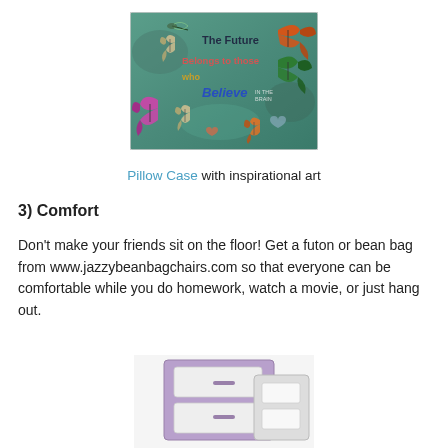[Figure (photo): A colorful pillow case with inspirational art featuring butterflies and text including 'The Future Belongs to Those Who Believe']
Pillow Case with inspirational art
3) Comfort
Don't make your friends sit on the floor!  Get a futon or bean bag from www.jazzybeanbagchairs.com so that everyone can be comfortable while you do homework, watch a movie, or just hang out.
[Figure (photo): A small purple and white storage unit or furniture item, partially visible at the bottom of the page]